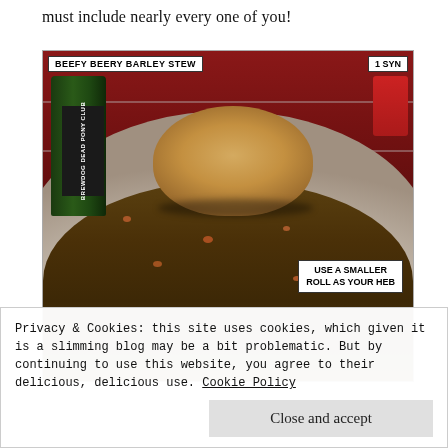must include nearly every one of you!
[Figure (photo): A bowl of beefy beery barley stew with a large bread roll on top, a bottle of BrewDog Dead Pony Club beer, and a red container in the background. White labels read 'BEEFY BEERY BARLEY STEW', '1 SYN', and 'USE A SMALLER ROLL AS YOUR HEB'.]
Privacy & Cookies: this site uses cookies, which given it is a slimming blog may be a bit problematic. But by continuing to use this website, you agree to their delicious, delicious use. Cookie Policy
Close and accept